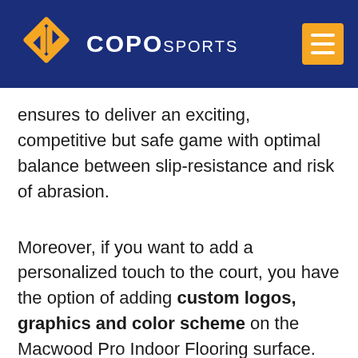[Figure (logo): COPO Sports logo with diamond chevron icon in orange and white text on dark blue header background, with orange hamburger menu button on the right]
ensures to deliver an exciting, competitive but safe game with optimal balance between slip-resistance and risk of abrasion.
Moreover, if you want to add a personalized touch to the court, you have the option of adding custom logos, graphics and color scheme on the Macwood Pro Indoor Flooring surface.